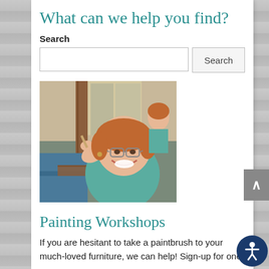What can we help you find?
Search
[Figure (screenshot): Search input box and Search button UI element]
[Figure (photo): A smiling woman with glasses and reddish hair, wearing a teal shirt, holding a paintbrush in a workshop setting with furniture being painted in the background]
Painting Workshops
If you are hesitant to take a paintbrush to your much-loved furniture, we can help! Sign-up for one